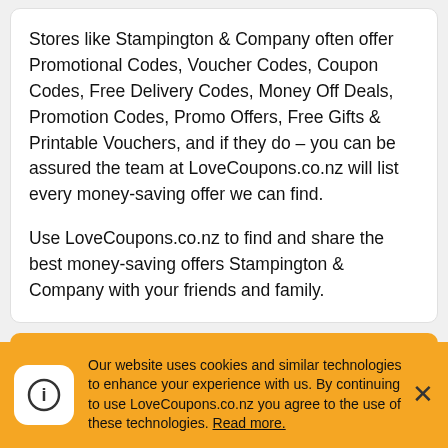Stores like Stampington & Company often offer Promotional Codes, Voucher Codes, Coupon Codes, Free Delivery Codes, Money Off Deals, Promotion Codes, Promo Offers, Free Gifts & Printable Vouchers, and if they do – you can be assured the team at LoveCoupons.co.nz will list every money-saving offer we can find.
Use LoveCoupons.co.nz to find and share the best money-saving offers Stampington & Company with your friends and family.
Stampington & Company Shipping Information
Our website uses cookies and similar technologies to enhance your experience with us. By continuing to use LoveCoupons.co.nz you agree to the use of these technologies. Read more.